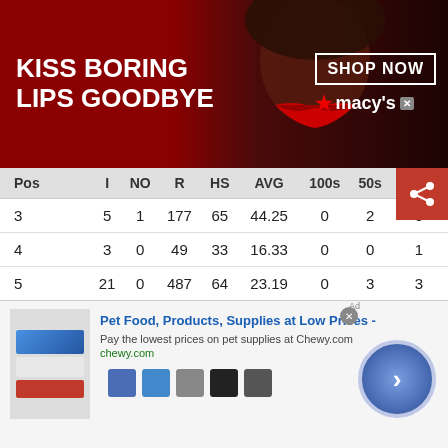[Figure (photo): Macy's advertisement banner with 'KISS BORING LIPS GOODBYE' text on dark red background with woman's face and red lips, SHOP NOW button and Macy's logo]
| Pos | I | NO | R | HS | AVG | 100s | 50s | CT |
| --- | --- | --- | --- | --- | --- | --- | --- | --- |
| 3 | 5 | 1 | 177 | 65 | 44.25 | 0 | 2 | 0 |
| 4 | 3 | 0 | 49 | 33 | 16.33 | 0 | 0 | 1 | 0 |
| 5 | 21 | 0 | 487 | 64 | 23.19 | 0 | 3 | 3 | 0 |
| 6 | 10 | 0 | 229 | 44 | 22.90 | 0 | 0 | 3 | 0 |
| 7 | 3 | 0 | 13 | 9 | 4.33 | 0 | 0 | 1 | 0 |
| 8 | 2 | 1 | 21 | 21* | 21.00 | 0 | 0 | 0 | 0 |
| Overall | 44 | 2 | 976 | 65 | 23.24 | 0 | 5 |  |
[Figure (photo): Chewy.com advertisement: 'Pet Food, Products, Supplies at Low Prices' with product images and navigation arrow button]